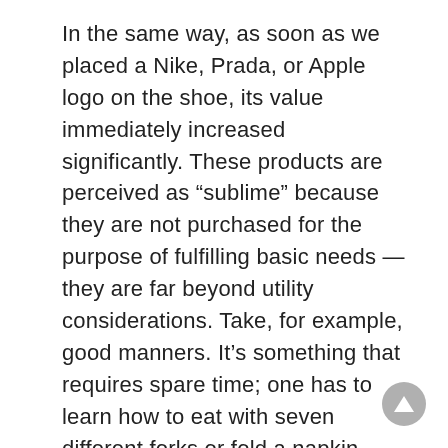In the same way, as soon as we placed a Nike, Prada, or Apple logo on the shoe, its value immediately increased significantly. These products are perceived as “sublime” because they are not purchased for the purpose of fulfilling basic needs — they are far beyond utility considerations. Take, for example, good manners. It’s something that requires spare time; one has to learn how to eat with seven different forks or fold a napkin.